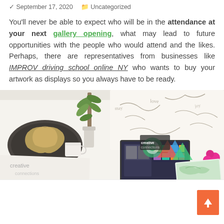September 17, 2020  Uncategorized
You'll never be able to expect who will be in the attendance at your next gallery opening, what may lead to future opportunities with the people who would attend and the likes. Perhaps, there are representatives from businesses like IMPROV driving school online NY who wants to buy your artwork as displays so you always have to be ready.
[Figure (photo): Overhead view of an art/creative workspace with a laptop, scattered papers with drawings and text, pink flowers, a plant in a vase, coffee cup, and colorful artwork cards on a white surface.]